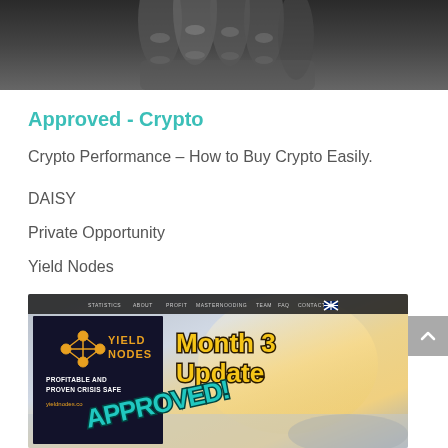[Figure (photo): Black and white close-up photo of a hand/fingers, cropped at top of page]
Approved - Crypto
Crypto Performance – How to Buy Crypto Easily.
DAISY
Private Opportunity
Yield Nodes
[Figure (screenshot): Screenshot of Yield Nodes website showing 'Month 3 Update' and 'APPROVED!' stamp overlay with the Yield Nodes logo and tagline 'PROFITABLE AND PROVEN CRISIS SAFE' at yieldnodes.co]